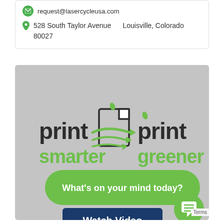request@lasercycleusa.com
528 South Taylor Avenue    Louisville, Colorado 80027
[Figure (illustration): Promotional banner with greyed-out background photo of hands writing. Overlay shows 'print smarter / print greener' logo with a document icon featuring arrows/leaves, a green rounded button reading 'What's on your mind today?', and a navy blue button reading 'Watch Video'. A green circular chat icon appears bottom right with a speech bubble icon.]